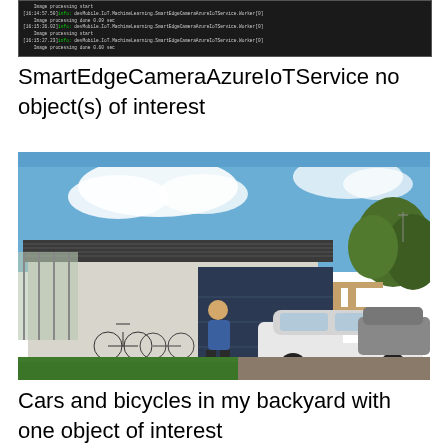[Figure (screenshot): Terminal/console log output showing SmartEdgeCameraAzureIoTService.Worker log entries with timestamps and image processing done messages]
SmartEdgeCameraAzureIoTService no object(s) of interest
[Figure (photo): Outdoor photograph of a residential backyard showing a single-story house with a corrugated metal roof, a dark garage door, bicycles leaning against the house, a person in blue jacket, a white SUV/car, another car, and green lawn with trees in background under blue sky with clouds]
Cars and bicycles in my backyard with one object of interest